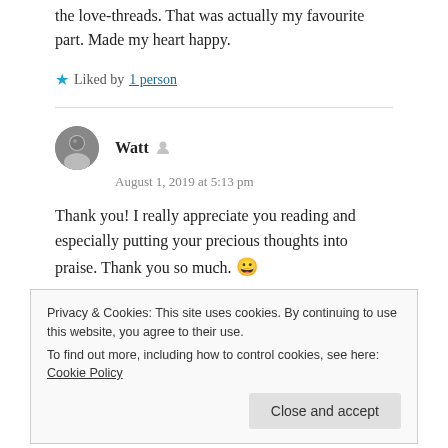the love-threads. That was actually my favourite part. Made my heart happy.
★ Liked by 1 person
Watt — August 1, 2019 at 5:13 pm
Thank you! I really appreciate you reading and especially putting your precious thoughts into praise. Thank you so much. 😀
★ Liked by 1 person
Privacy & Cookies: This site uses cookies. By continuing to use this website, you agree to their use. To find out more, including how to control cookies, see here: Cookie Policy